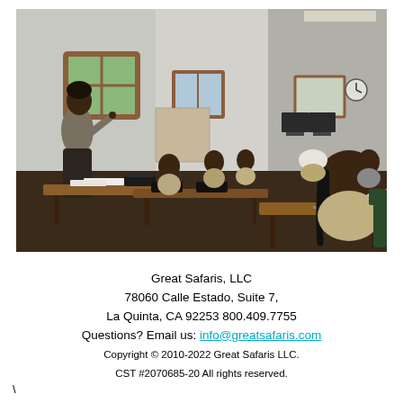[Figure (photo): A classroom scene showing a female instructor standing at the front addressing a group of seated students at wooden desks. The room has white walls, windows, and computers visible in the background. Students are wearing beige/khaki uniforms and have books and toolboxes on their desks.]
Great Safaris, LLC
78060 Calle Estado, Suite 7,
La Quinta, CA 92253 800.409.7755
Questions? Email us: info@greatsafaris.com
Copyright © 2010-2022 Great Safaris LLC.
CST #2070685-20 All rights reserved.
\